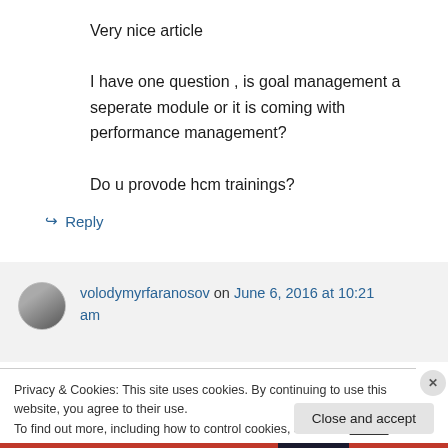Very nice article
I have one question , is goal management a seperate module or it is coming with performance management?
Do u provode hcm trainings?
↳ Reply
volodymyrfaranosov on June 6, 2016 at 10:21 am
Privacy & Cookies: This site uses cookies. By continuing to use this website, you agree to their use.
To find out more, including how to control cookies, see here: Cookie Policy
Close and accept